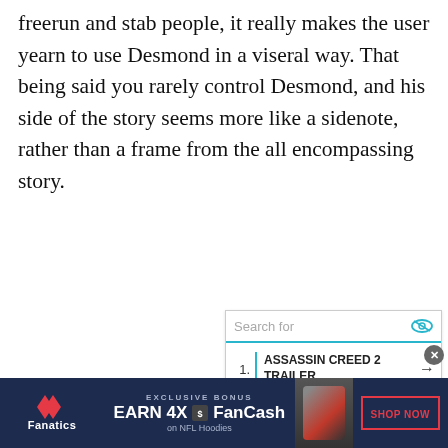freerun and stab people, it really makes the user yearn to use Desmond in a viseral way. That being said you rarely control Desmond, and his side of the story seems more like a sidenote, rather than a frame from the all encompassing story.
[Figure (other): Search widget with 'Search for' bar and list items: 1. ASSASSIN CREED 2 TRAILER, 2. SONIC VIDEO GAME, 3. ASSASSINS CREED, each with arrow links]
[Figure (other): Fanatics advertisement banner: EXCLUSIVE BONUS - EARN 4X FanCash on NFL Hoodies - SHOP NOW button]